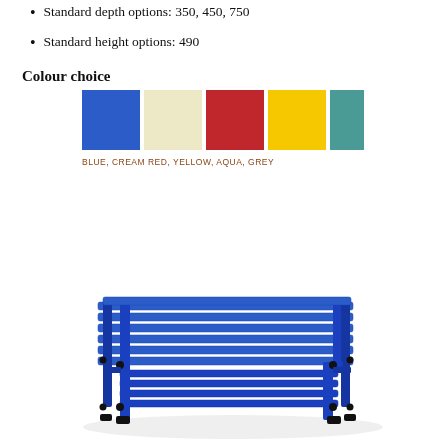Standard depth options: 350, 450, 750
Standard height options: 490
Colour choice
[Figure (illustration): Five colour swatches: Blue, Cream, Red, Yellow, Aqua (partially visible)]
BLUE, CREAM RED, YELLOW, AQUA, GREY
[Figure (photo): Blue plastic slatted bench with lower shelf, viewed from a front-angled perspective]